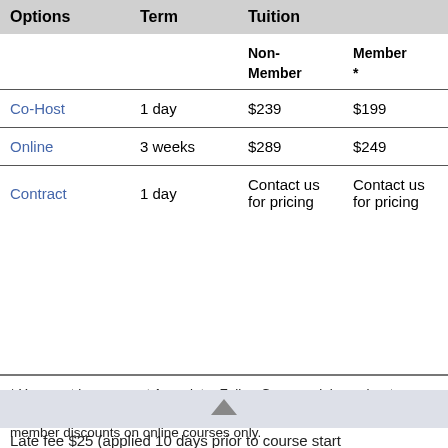| Options | Term | Non-Member | Member * |
| --- | --- | --- | --- |
| Co-Host | 1 day | $239 | $199 |
| Online | 3 weeks | $289 | $249 |
| Contract | 1 day | Contact us for pricing | Contact us for pricing |
* You must be a current Associate, Full or Commercial member to receive member discounts on all courses. Online members receive member discounts on online courses only.
Late fee $25 (applied 10 days prior to course start